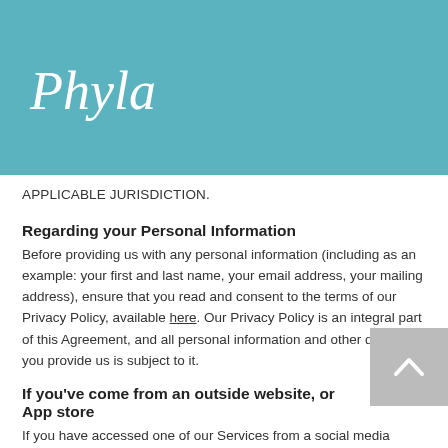[Figure (logo): Phyla logo in white italic script on teal header bar with hamburger menu icon]
APPLICABLE JURISDICTION.
Regarding your Personal Information
Before providing us with any personal information (including as an example: your first and last name, your email address, your mailing address), ensure that you read and consent to the terms of our Privacy Policy, available here. Our Privacy Policy is an integral part of this Agreement, and all personal information and other data that you provide us is subject to it.
If you've come from an outside website, or App store
If you have accessed one of our Services from a social media website (or social media integration), you agree to read and comply with our Terms and Conditions, which includes this Agreement and our Privacy Policy, before